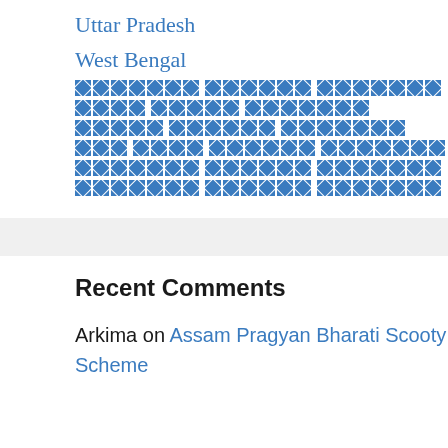Uttar Pradesh
West Bengal
[redacted] [redacted] [redacted]
[redacted] [redacted] [redacted]
[redacted] [redacted] [redacted]
[redacted] [redacted] [redacted] [redacted]
[redacted] [redacted] [redacted]
[redacted] [redacted] [redacted]
Recent Comments
Arkima on Assam Pragyan Bharati Scooty Scheme